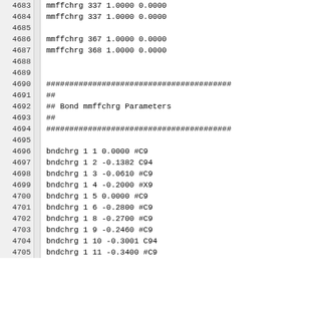| line |  | code |
| --- | --- | --- |
| 4683 |  | mmffchrg   337      1.0000   0.0000 |
| 4684 |  | mmffchrg   337      1.0000   0.0000 |
| 4685 |  |  |
| 4686 |  | mmffchrg   367      1.0000   0.0000 |
| 4687 |  | mmffchrg   368      1.0000   0.0000 |
| 4688 |  |  |
| 4689 |  |  |
| 4690 |  | ######################################## |
| 4691 |  | ## |
| 4692 |  | ##   Bond   mmffchrg Parameters |
| 4693 |  | ## |
| 4694 |  | ######################################## |
| 4695 |  |  |
| 4696 |  | bndchrg       1    1      0.0000   #C9 |
| 4697 |  | bndchrg       1    2     -0.1382   C94 |
| 4698 |  | bndchrg       1    3     -0.0610   #C9 |
| 4699 |  | bndchrg       1    4     -0.2000   #X9 |
| 4700 |  | bndchrg       1    5      0.0000   #C9 |
| 4701 |  | bndchrg       1    6     -0.2800   #C9 |
| 4702 |  | bndchrg       1    8     -0.2700   #C9 |
| 4703 |  | bndchrg       1    9     -0.2460   #C9 |
| 4704 |  | bndchrg       1   10     -0.3001   C94 |
| 4705 |  | bndchrg       1   11     -0.3400   #C9 |